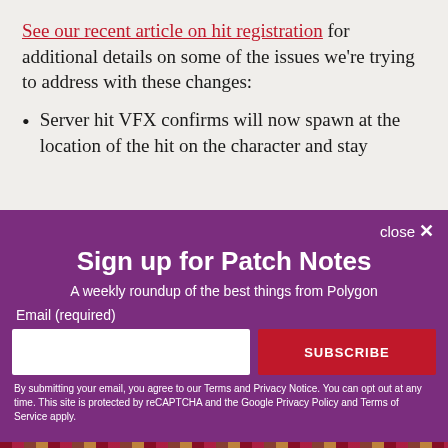See our recent article on hit registration for additional details on some of the issues we're trying to address with these changes:
Server hit VFX confirms will now spawn at the location of the hit on the character and stay
Sign up for Patch Notes
A weekly roundup of the best things from Polygon
Email (required)
SUBSCRIBE
By submitting your email, you agree to our Terms and Privacy Notice. You can opt out at any time. This site is protected by reCAPTCHA and the Google Privacy Policy and Terms of Service apply.